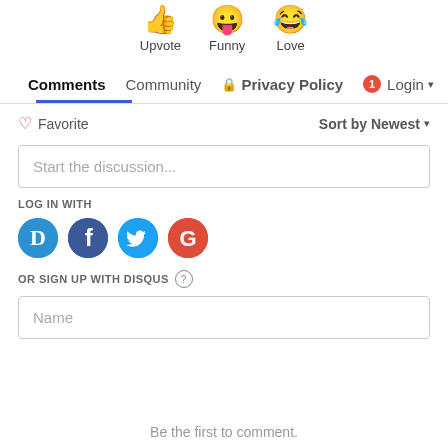[Figure (illustration): Emoji reaction icons: Upvote (thumbs up), Funny (tongue out), Love (laughing with tears)]
Comments  Community  Privacy Policy  Login
Favorite  Sort by Newest
Start the discussion...
LOG IN WITH
[Figure (logo): Social login icons: Disqus (D), Facebook (f), Twitter bird, Google (G)]
OR SIGN UP WITH DISQUS ?
Name
Be the first to comment.